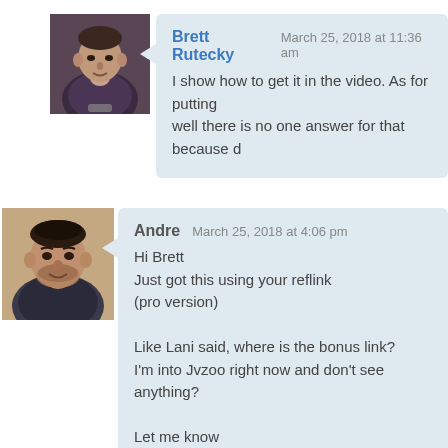Brett Rutecky  March 25, 2018 at 11:36 am
I show how to get it in the video. As for putting well there is no one answer for that because d
Andre  March 25, 2018 at 4:06 pm
Hi Brett
Just got this using your reflink
(pro version)

Like Lani said, where is the bonus link?
I'm into Jvzoo right now and don't see anything?

Let me know
Thanks